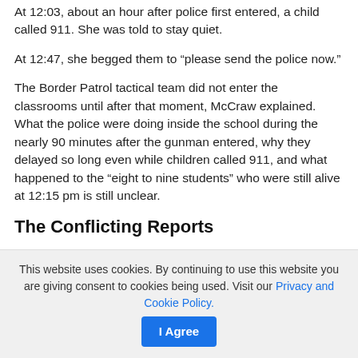At 12:03, about an hour after police first entered, a child called 911. She was told to stay quiet.
At 12:47, she begged them to “please send the police now.”
The Border Patrol tactical team did not enter the classrooms until after that moment, McCraw explained. What the police were doing inside the school during the nearly 90 minutes after the gunman entered, why they delayed so long even while children called 911, and what happened to the “eight to nine students” who were still alive at 12:15 pm is still unclear.
The Conflicting Reports
This website uses cookies. By continuing to use this website you are giving consent to cookies being used. Visit our Privacy and Cookie Policy.